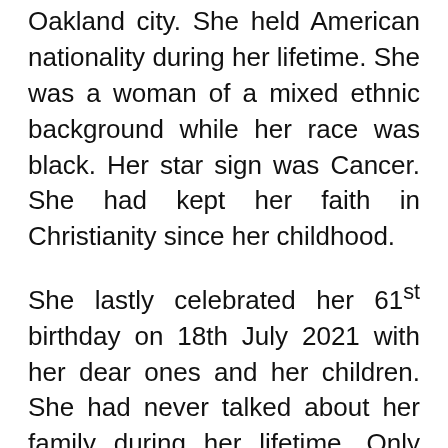Oakland city. She held American nationality during her lifetime. She was a woman of a mixed ethnic background while her race was black. Her star sign was Cancer. She had kept her faith in Christianity since her childhood.
She lastly celebrated her 61st birthday on 18th July 2021 with her dear ones and her children. She had never talked about her family during her lifetime. Only the fact is known that she had a little brother. But h...
[Figure (other): Promoted content advertisement strip with mgid logo and two thumbnail images below]